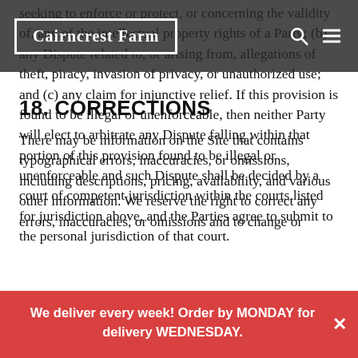Cairncrest Farm
seeking to enforce or protect, or concerning the validity of, any of the intellectual property rights of a Party; (b) any Dispute related to, or arising from, allegations of theft, piracy, invasion of privacy, or unauthorized use; and (c) any claim for injunctive relief. If this provision is found to be illegal or unenforceable, then neither Party will elect to arbitrate any Dispute falling within that portion of this provision found to be illegal or unenforceable and such Dispute shall be decided by a court of competent jurisdiction within the courts listed for jurisdiction above, and the Parties agree to submit to the personal jurisdiction of that court.
18. CORRECTIONS
There may be information on the Site that contains typographical errors, inaccuracies, or omissions, including descriptions, pricing, availability, and various other information. We reserve the right to correct any errors, inaccuracies, or omissions and to change or
We deliver every week! Order by MONDAY for delivery WEDNESDAY.